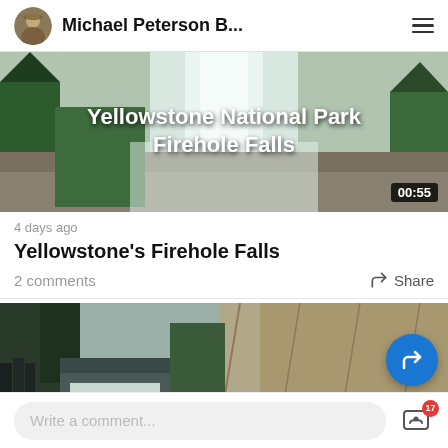Michael Peterson B...
[Figure (screenshot): Video thumbnail showing Yellowstone National Park Firehole Falls waterfall with text overlay and 00:55 duration badge]
4 days ago
Yellowstone's Firehole Falls
2 comments   Share
[Figure (photo): Partial photo of a waterfall and rocky canyon at Yellowstone, partially visible at bottom of page]
Write a comment...